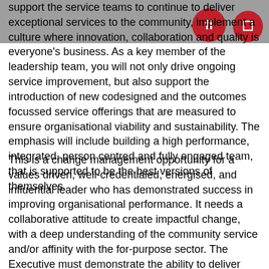support the service teams to continue to deliver exceptional services to the community, implement a culture where innovation, collaboration and quality is everyone's business. As a key member of the leadership team, you will not only drive ongoing service improvement, but also support the introduction of new codesigned and the outcomes focussed service offerings that are measured to ensure organisational viability and sustainability. The emphasis will include building a high performance, integrated, person centred and fully engaged team, that is supported to be the best versions of themselves.
This is a change management opportunity for a values driven, well-credentialed, energised, and influential leader who has demonstrated success in improving organisational performance. It needs a collaborative attitude to create impactful change, with a deep understanding of the community service and/or affinity with the for-purpose sector. The Executive must demonstrate the ability to deliver innovation, along with highly developed financial budget and business planning skills and the ability to create successful funding applications. The role requires a bold thinker who has the drive and ambition to make a positive difference in a